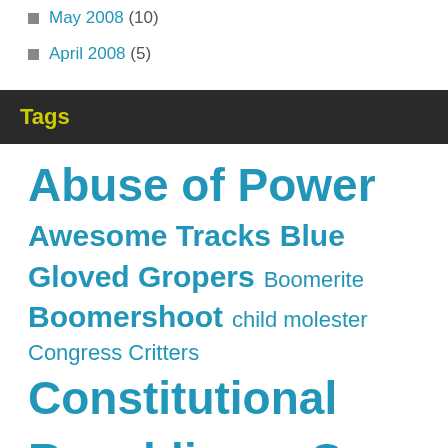May 2008 (10)
April 2008 (5)
Tags
Abuse of Power Awesome Tracks Blue Gloved Gropers Boomerite Boomershoot child molester Congress Critters Constitutional Republic Contempt Cops Behaving Badly Corruption Criminal Double Standard Drug War Economy Explosion Explosives Fearless Leader Firearms Fireball Freedom